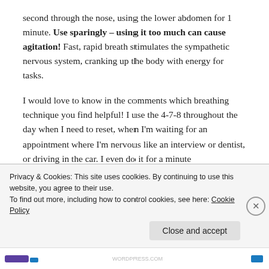second through the nose, using the lower abdomen for 1 minute. Use sparingly – using it too much can cause agitation! Fast, rapid breath stimulates the sympathetic nervous system, cranking up the body with energy for tasks.
I would love to know in the comments which breathing technique you find helpful! I use the 4-7-8 throughout the day when I need to reset, when I'm waiting for an appointment where I'm nervous like an interview or dentist, or driving in the car. I even do it for a minute before sleeping and have been woken up and gone back to sleep...
Privacy & Cookies: This site uses cookies. By continuing to use this website, you agree to their use.
To find out more, including how to control cookies, see here: Cookie Policy